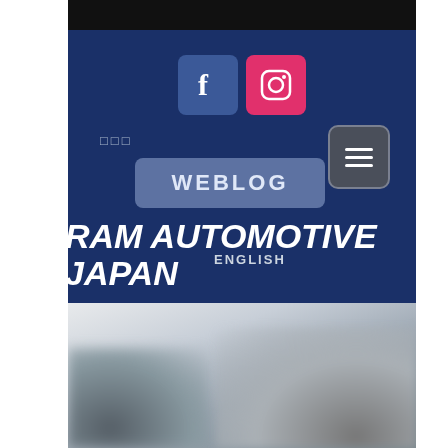[Figure (screenshot): RAM Automotive Japan website screenshot showing Facebook and Instagram social icons, a WEBLOG button, navigation menu button, brand title RAM AUTOMOTIVE JAPAN, ENGLISH subtitle, and a blurred car photo at bottom]
RAM AUTOMOTIVE JAPAN
ENGLISH
WEBLOG